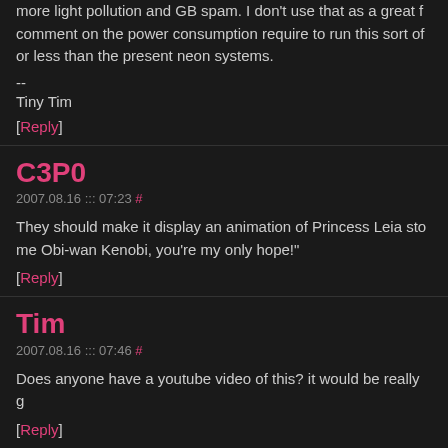more light pollution and GB spam. I don't use that as a great comment on the power consumption require to run this sort of or less than the present neon systems.
--
Tiny Tim
[Reply]
C3P0
2007.08.16 ::: 07:23 #
They should make it display an animation of Princess Leia sto me Obi-wan Kenobi, you're my only hope!"
[Reply]
Tim
2007.08.16 ::: 07:46 #
Does anyone have a youtube video of this? it would be really g
[Reply]